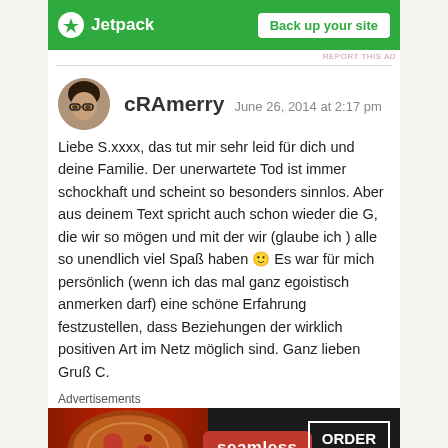[Figure (screenshot): Jetpack advertisement banner: green background with Jetpack logo and 'Back up your site' button]
REPORT THIS AD
cRAmerry  June 26, 2014 at 2:17 pm
Liebe S.xxxx, das tut mir sehr leid für dich und deine Familie. Der unerwartete Tod ist immer schockhaft und scheint so besonders sinnlos. Aber aus deinem Text spricht auch schon wieder die G, die wir so mögen und mit der wir (glaube ich ) alle so unendlich viel Spaß haben 🙂 Es war für mich persönlich (wenn ich das mal ganz egoistisch anmerken darf) eine schöne Erfahrung festzustellen, dass Beziehungen der wirklich positiven Art im Netz möglich sind. Ganz lieben Gruß C.
Advertisements
[Figure (screenshot): Seamless food delivery advertisement banner with pizza image, seamless logo and ORDER NOW button]